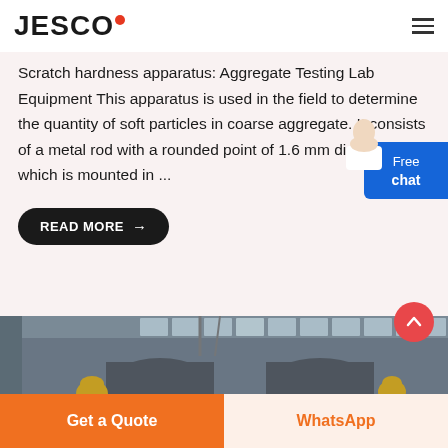JESCO
Scratch hardness apparatus: Aggregate Testing Lab Equipment This apparatus is used in the field to determine the quantity of soft particles in coarse aggregate. It consists of a metal rod with a rounded point of 1.6 mm diameter, which is mounted in ...
READ MORE →
[Figure (photo): Industrial factory floor showing large cylindrical metal rolls/drums with workers in yellow hard hats, inside a large warehouse with windows]
Get a Quote
WhatsApp